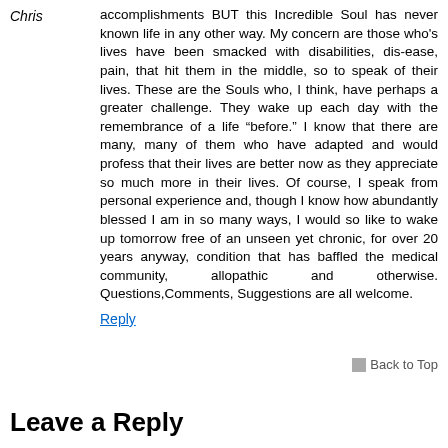Chris
accomplishments BUT this Incredible Soul has never known life in any other way. My concern are those who's lives have been smacked with disabilities, dis-ease, pain, that hit them in the middle, so to speak of their lives. These are the Souls who, I think, have perhaps a greater challenge. They wake up each day with the remembrance of a life “before.” I know that there are many, many of them who have adapted and would profess that their lives are better now as they appreciate so much more in their lives. Of course, I speak from personal experience and, though I know how abundantly blessed I am in so many ways, I would so like to wake up tomorrow free of an unseen yet chronic, for over 20 years anyway, condition that has baffled the medical community, allopathic and otherwise. Questions,Comments, Suggestions are all welcome.
Reply
Back to Top
Leave a Reply